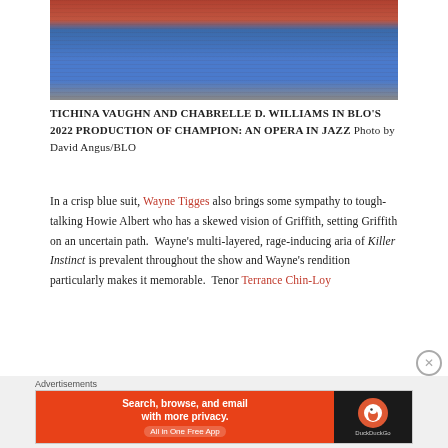[Figure (photo): Two people dancing together — one in a blue jacket, one in a red/orange outfit — in front of a brick wall backdrop]
TICHINA VAUGHN AND CHABRELLE D. WILLIAMS IN BLO'S 2022 PRODUCTION OF CHAMPION: AN OPERA IN JAZZ Photo by David Angus/BLO
In a crisp blue suit, Wayne Tigges also brings some sympathy to tough-talking Howie Albert who has a skewed vision of Griffith, setting Griffith on an uncertain path.  Wayne's multi-layered, rage-inducing aria of Killer Instinct is prevalent throughout the show and Wayne's rendition particularly makes it memorable.  Tenor Terrance Chin-Loy
Advertisements
[Figure (screenshot): DuckDuckGo advertisement banner: orange background on left with text 'Search, browse, and email with more privacy. All in One Free App', and dark background on right with DuckDuckGo logo]